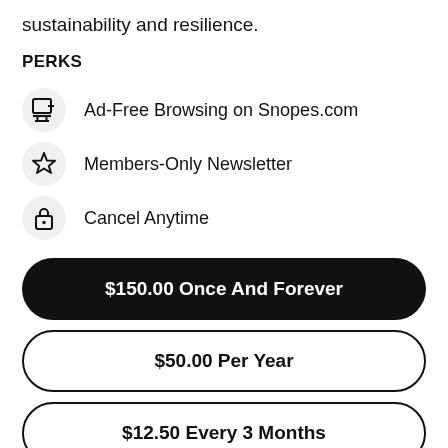sustainability and resilience.
PERKS
Ad-Free Browsing on Snopes.com
Members-Only Newsletter
Cancel Anytime
$150.00 Once And Forever
$50.00 Per Year
$12.50 Every 3 Months